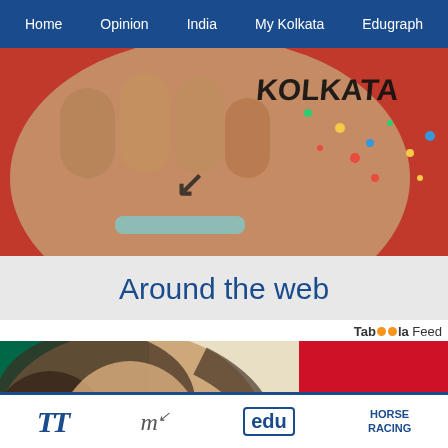Home  Opinion  India  My Kolkata  Edugraph
[Figure (photo): Hero banner image on red background showing a hand/fist with a mark, and text 'KOLKATA' in the upper right with confetti]
Around the web
Taboola Feed
[Figure (photo): A smiling woman with dark hair overlaid on the Mexican flag (green, white with eagle emblem, and red stripes)]
TT  my  edu  HORSE RACING